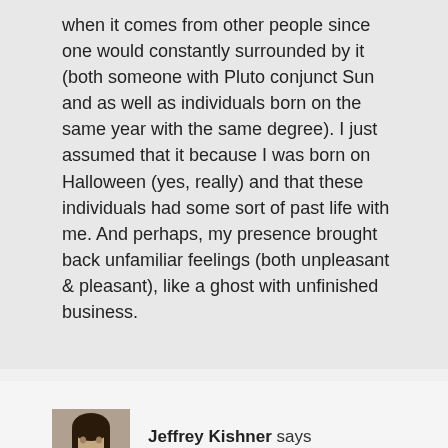when it comes from other people since one would constantly surrounded by it (both someone with Pluto conjunct Sun and as well as individuals born on the same year with the same degree). I just assumed that it because I was born on Halloween (yes, really) and that these individuals had some sort of past life with me. And perhaps, my presence brought back unfamiliar feelings (both unpleasant & pleasant), like a ghost with unfinished business.
Jeffrey Kishner says
May 19, 2012 at 10:23 am